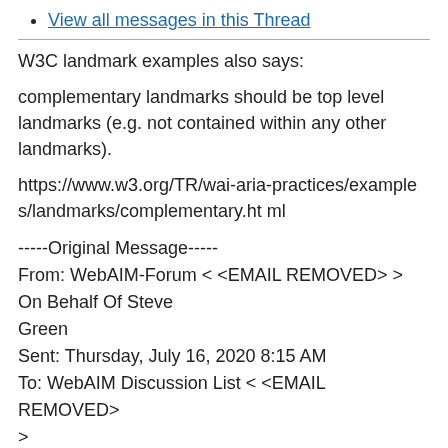View all messages in this Thread
W3C landmark examples also says:
complementary landmarks should be top level landmarks (e.g. not contained within any other landmarks).
https://www.w3.org/TR/wai-aria-practices/examples/landmarks/complementary.html
-----Original Message-----
From: WebAIM-Forum < <EMAIL REMOVED> > On Behalf Of Steve
Green
Sent: Thursday, July 16, 2020 8:15 AM
To: WebAIM Discussion List < <EMAIL REMOVED>
>